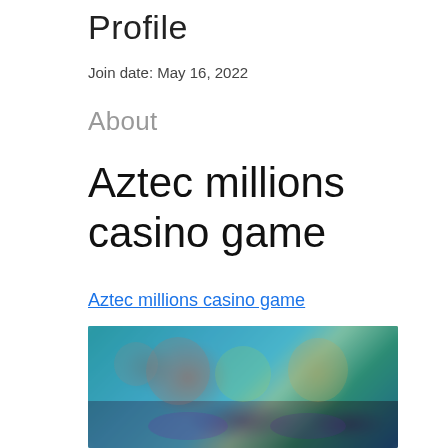Profile
Join date: May 16, 2022
About
Aztec millions casino game
Aztec millions casino game
[Figure (photo): Blurred screenshot of a casino game interface showing colorful characters and slot game elements]